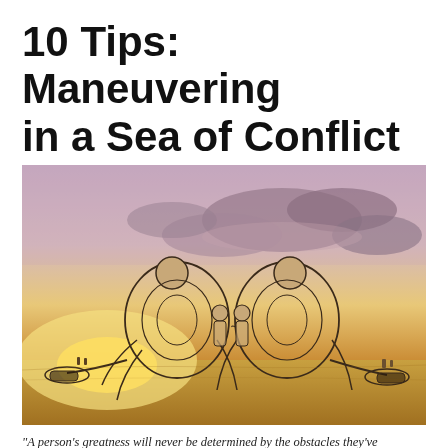10 Tips: Maneuvering in a Sea of Conflict
[Figure (photo): Large outdoor sculpture at sunset showing two wire-frame human figures sitting back-to-back with small child-like figures between them, on a flat open plain with dramatic cloudy sky in pink and golden tones.]
“A person’s greatness will never be determined by the obstacles they’ve